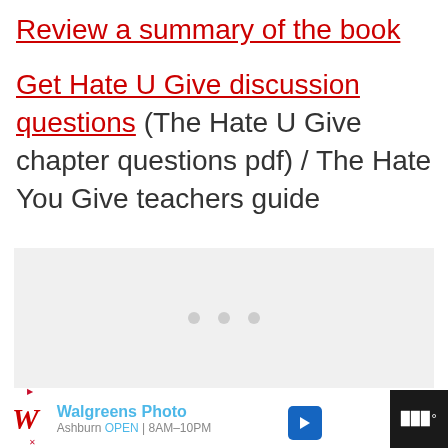Review a summary of the book
Get Hate U Give discussion questions (The Hate U Give chapter questions pdf) / The Hate You Give teachers guide
[Figure (other): Gray placeholder box with three dots, indicating loading content]
[Figure (other): Walgreens Photo advertisement banner at bottom of page showing Walgreens logo, Walgreens Photo text, Ashburn OPEN 8AM-10PM, navigation arrow icon, and small app icon]